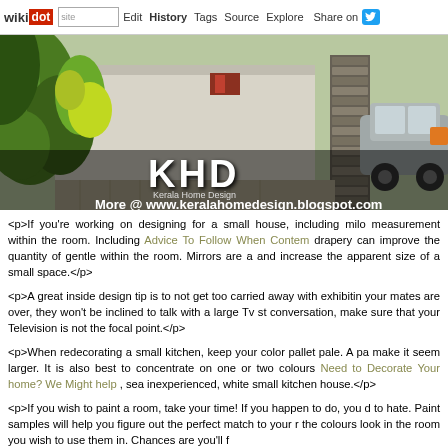wikidot | site | Edit | History | Tags | Source | Explore | Share on Twitter
[Figure (photo): Kerala Home Design hero image showing a house exterior with lush green plants, stone pillar, paved driveway and a grey SUV. KHD Kerala Home Design logo overlay with text 'More @ www.keralahomedesign.blogspot.com']
<p>If you're working on designing for a small house, including milo measurement within the room. Including Advice To Follow When Contem drapery can improve the quantity of gentle within the room. Mirrors are a and increase the apparent size of a small space.</p>
<p>A great inside design tip is to not get too carried away with exhibitin your mates are over, they won't be inclined to talk with a large Tv st conversation, make sure that your Television is not the focal point.</p>
<p>When redecorating a small kitchen, keep your color pallet pale. A pa make it seem larger. It is also best to concentrate on one or two colours Need to Decorate Your home? We Might help , sea inexperienced, white small kitchen house.</p>
<p>If you wish to paint a room, take your time! If you happen to do, you d to hate. Paint samples will help you figure out the perfect match to your r the colours look in the room you wish to use them in. Chances are you'll f